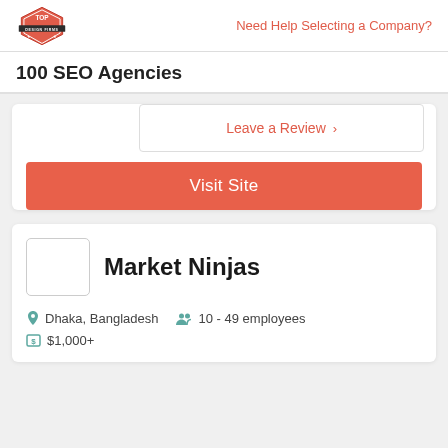Top Design Firms | Need Help Selecting a Company?
100 SEO Agencies
Leave a Review >
Visit Site
Market Ninjas
Dhaka, Bangladesh   10 - 49 employees
$1,000+